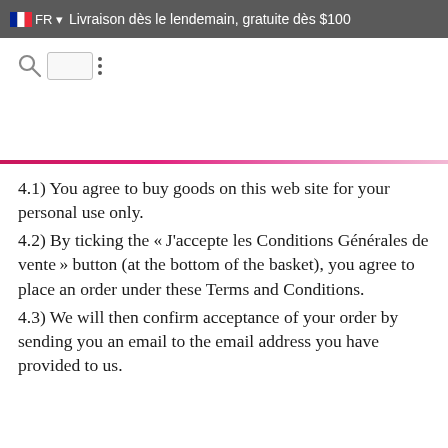FR — Livraison dès le lendemain, gratuite dès $100
[Figure (screenshot): Search bar with magnifying glass icon and menu dots icon]
4.1) You agree to buy goods on this web site for your personal use only.
4.2) By ticking the « J'accepte les Conditions Générales de vente » button (at the bottom of the basket), you agree to place an order under these Terms and Conditions.
4.3) We will then confirm acceptance of your order by sending you an email to the email address you have provided to us.